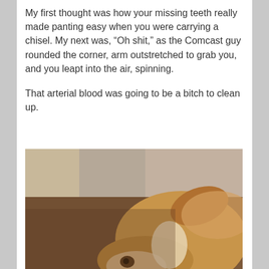My first thought was how your missing teeth really made panting easy when you were carrying a chisel. My next was, “Oh shit,” as the Comcast guy rounded the corner, arm outstretched to grab you, and you leapt into the air, spinning.
That arterial blood was going to be a bitch to clean up.
[Figure (photo): A dog (appears to be a beagle or similar breed, tan and white) looking up at the camera from a patterned area rug near a wall corner.]